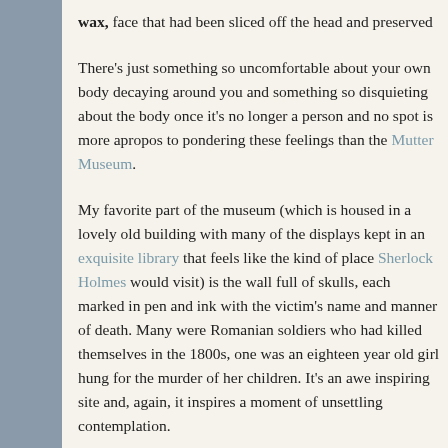wax, face that had been sliced off the head and preserved
There's just something so uncomfortable about your own body decaying around you and something so disquieting about the body once it's no longer a person and no spot is more apropos to pondering these feelings than the Mutter Museum.
My favorite part of the museum (which is housed in a lovely old building with many of the displays kept in an exquisite library that feels like the kind of place Sherlock Holmes would visit) is the wall full of skulls, each marked in pen and ink with the victim's name and manner of death. Many were Romanian soldiers who had killed themselves in the 1800s, one was an eighteen year old girl hung for the murder of her children. It's an awe inspiring site and, again, it inspires a moment of unsettling contemplation.
The Mutter is part of The College of Physicians of Philadelphia, which was founded in 1787. The museum began